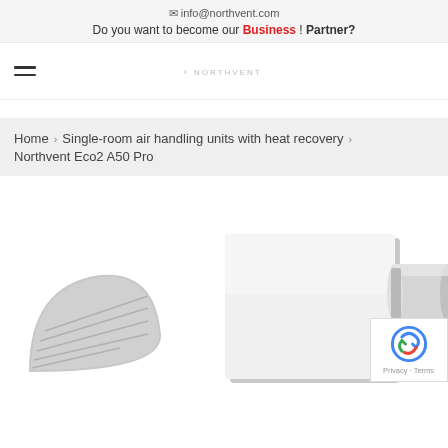✉ info@northvent.com
Do you want to become our Business ! Partner?
[Figure (logo): Hamburger menu icon and Northvent logo in navigation bar]
Home > Single-room air handling units with heat recovery > Northvent Eco2 A50 Pro
[Figure (photo): Northvent Eco2 A50 Pro ventilation unit product photo showing white rectangular wall unit with cylindrical duct, and a round louvered exterior vent cover on the left]